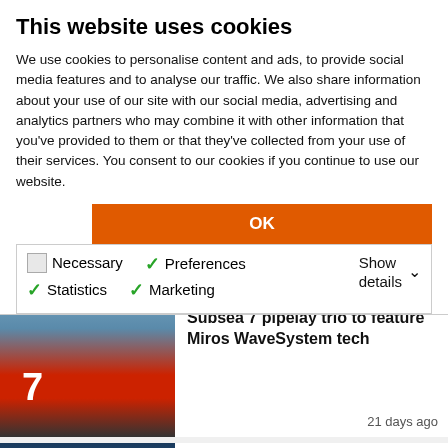This website uses cookies
We use cookies to personalise content and ads, to provide social media features and to analyse our traffic. We also share information about your use of our site with our social media, advertising and analytics partners who may combine it with other information that you've provided to them or that they've collected from your use of their services. You consent to our cookies if you continue to use our website.
OK
Necessary  Preferences  Statistics  Marketing  Show details
TECHNOLOGY
Subsea 7 pipelay trio to feature Miros WaveSystem tech
21 days ago
[Figure (photo): Red and white offshore pipe-lay vessel with large crane structure, number 7 visible on hull, at sea]
BUSINESS & FINANCE
Aker Solutions, Schlumberger and Subsea 7 to set up subsea joint
[Figure (photo): Offshore oil platform or vessel at night/dusk with dramatic cloudy sky and light beam]